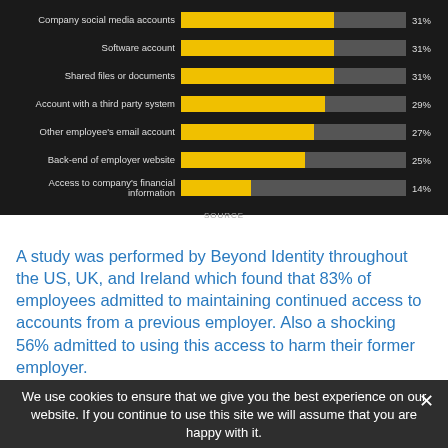[Figure (bar-chart): Accounts accessed from previous employer]
A study was performed by Beyond Identity throughout the US, UK, and Ireland which found that 83% of employees admitted to maintaining continued access to accounts from a previous employer. Also a shocking 56% admitted to using this access to harm their former employer.
We use cookies to ensure that we give you the best experience on our website. If you continue to use this site we will assume that you are happy with it.